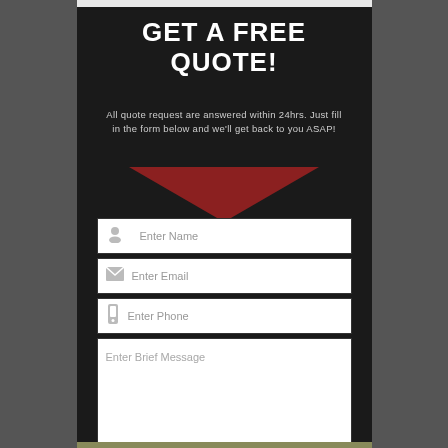GET A FREE QUOTE!
All quote request are answered within 24hrs. Just fill in the form below and we'll get back to you ASAP!
[Figure (illustration): Red downward-pointing triangle/arrow shape]
Enter Name
Enter Email
Enter Phone
Enter Brief Message